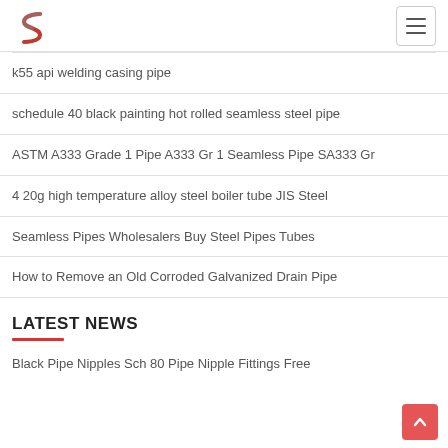Logo and navigation header
k55 api welding casing pipe
schedule 40 black painting hot rolled seamless steel pipe
ASTM A333 Grade 1 Pipe A333 Gr 1 Seamless Pipe SA333 Gr
4 20g high temperature alloy steel boiler tube JIS Steel
Seamless Pipes Wholesalers Buy Steel Pipes Tubes
How to Remove an Old Corroded Galvanized Drain Pipe
LATEST NEWS
Black Pipe Nipples Sch 80 Pipe Nipple Fittings Free